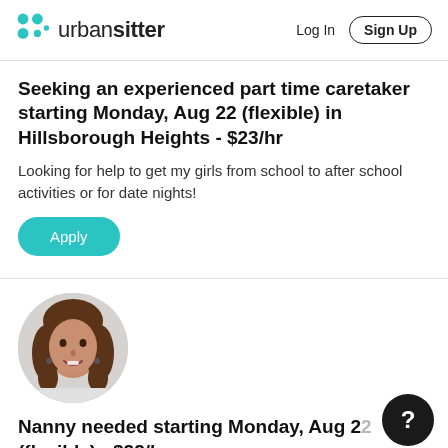urban sitter — Log In  Sign Up
Seeking an experienced part time caretaker starting Monday, Aug 22 (flexible) in Hillsborough Heights - $23/hr
Looking for help to get my girls from school to after school activities or for date nights!
Apply
[Figure (photo): Profile photo of a woman with curly brown hair, smiling]
Nanny needed starting Monday, Aug 22 (flexible) - $22/hr